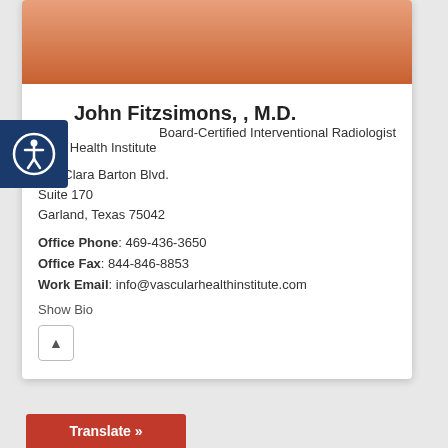[Figure (photo): Cropped photo of Dr. John Fitzsimons, partial view of face and orange clothing at top of card]
John Fitzsimons, , M.D.
Board-Certified Interventional Radiologist
cular Health Institute
530 Clara Barton Blvd.
Suite 170
Garland, Texas 75042
Office Phone: 469-436-3650
Office Fax: 844-846-8853
Work Email: info@vascularhealthinstitute.com
Show Bio
[Figure (other): Accessibility icon (person in circle) in dark blue square]
Translate »